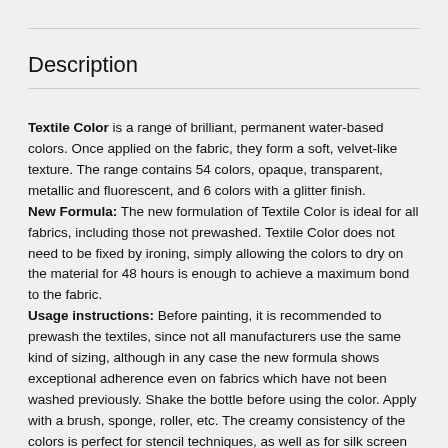Description
Textile Color is a range of brilliant, permanent water-based colors. Once applied on the fabric, they form a soft, velvet-like texture. The range contains 54 colors, opaque, transparent, metallic and fluorescent, and 6 colors with a glitter finish.
New Formula: The new formulation of Textile Color is ideal for all fabrics, including those not prewashed. Textile Color does not need to be fixed by ironing, simply allowing the colors to dry on the material for 48 hours is enough to achieve a maximum bond to the fabric.
Usage instructions: Before painting, it is recommended to prewash the textiles, since not all manufacturers use the same kind of sizing, although in any case the new formula shows exceptional adherence even on fabrics which have not been washed previously. Shake the bottle before using the color. Apply with a brush, sponge, roller, etc. The creamy consistency of the colors is perfect for stencil techniques, as well as for silk screen and printing applications. The colors can be used directly, without dilution, or they can be diluted with distilled water, but it is important not to exceed a 20% ratio of dilution, since this would result in a slight loss of adherence. Textile Medium, reference 81, is